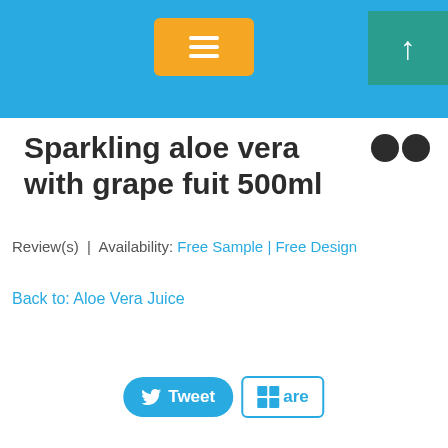[Figure (screenshot): Navigation header bar with orange hamburger menu button and teal scroll-to-top arrow button]
Sparkling aloe vera with grape fuit 500ml
Review(s) | Availability: Free Sample | Free Design
Back to: Aloe Vera Juice
[Figure (other): Tweet and Share social buttons at bottom of page]